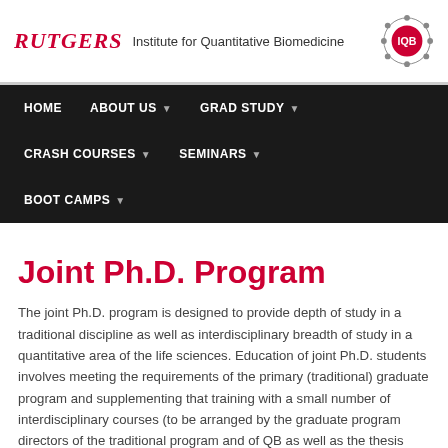RUTGERS Institute for Quantitative Biomedicine
Joint Ph.D. Program
The joint Ph.D. program is designed to provide depth of study in a traditional discipline as well as interdisciplinary breadth of study in a quantitative area of the life sciences. Education of joint Ph.D. students involves meeting the requirements of the primary (traditional) graduate program and supplementing that training with a small number of interdisciplinary courses (to be arranged by the graduate program directors of the traditional program and of QB as well as the thesis advisor, to best align and streamline the coursework requirements). Being in the Joint